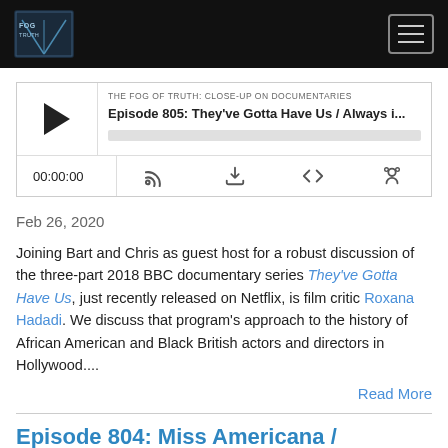THE FOG OF TRUTH: CLOSE-UP ON DOCUMENTARIES — navigation bar with logo and menu button
[Figure (screenshot): Podcast audio player widget showing episode 805: They've Gotta Have Us / Always i... with play button, progress bar, time display 00:00:00, and control icons]
Feb 26, 2020
Joining Bart and Chris as guest host for a robust discussion of the three-part 2018 BBC documentary series They've Gotta Have Us, just recently released on Netflix, is film critic Roxana Hadadi. We discuss that program's approach to the history of African American and Black British actors and directors in Hollywood....
Read More
Episode 804: Miss Americana /